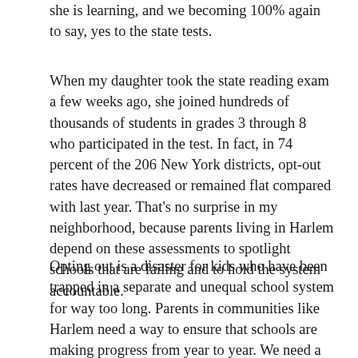she is learning, and we becoming 100% again to say, yes to the state tests.
When my daughter took the state reading exam a few weeks ago, she joined hundreds of thousands of students in grades 3 through 8 who participated in the test. In fact, in 74 percent of the 206 New York districts, opt-out rates have decreased or remained flat compared with last year. That's no surprise in my neighborhood, because parents living in Harlem depend on these assessments to spotlight schools that are failing and to hold the system accountable.
Opting out is a disaster for kids who have been trapped in a separate and unequal school system for way too long. Parents in communities like Harlem need a way to ensure that schools are making progress from year to year. We need a way to identify gaps in learning for our kids, to measure the performance of our schools, and to hold the